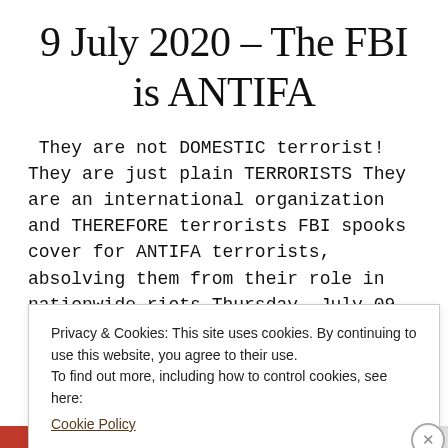9 July 2020 – The FBI is ANTIFA
They are not DOMESTIC terrorist!  They are just plain TERRORISTS They are an international organization and THEREFORE terrorists FBI spooks cover for ANTIFA terrorists, absolving them from their role in nationwide riots Thursday, July 09, 2020 by: News
Privacy & Cookies: This site uses cookies. By continuing to use this website, you agree to their use.
To find out more, including how to control cookies, see here:
Cookie Policy
Close and accept